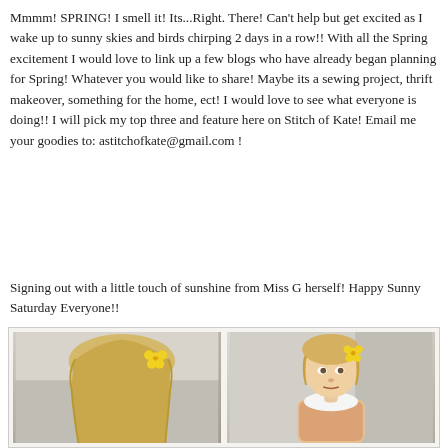Mmmm! SPRING! I smell it! Its...Right. There! Can't help but get excited as I wake up to sunny skies and birds chirping 2 days in a row!! With all the Spring excitement I would love to link up a few blogs who have already began planning for Spring! Whatever you would like to share! Maybe its a sewing project, thrift makeover, something for the home, ect! I would love to see what everyone is doing!! I will pick my top three and feature here on Stitch of Kate! Email me your goodies to: astitchofkate@gmail.com !
Signing out with a little touch of sunshine from Miss G herself! Happy Sunny Saturday Everyone!!
[Figure (photo): Two photos side by side of a young girl with a yellow flower hair accessory. Left photo shows the girl from behind/side with blonde hair. Right photo shows a toddler girl facing forward wearing a floral dress with a white collar and yellow flower hair clip.]